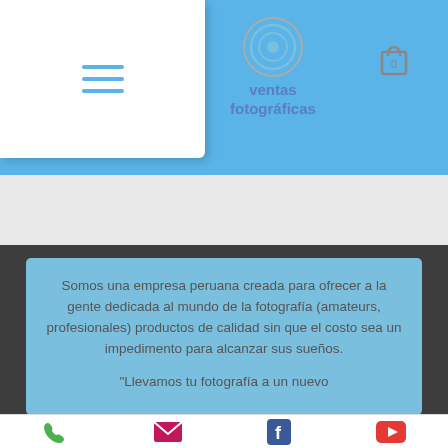[Figure (screenshot): Website navigation bar for 'ventas fotográficas' with hamburger menu, circular logo, and shopping cart icon on blue background]
Somos una empresa peruana creada para ofrecer a la gente dedicada al mundo de la fotografía (amateurs, profesionales) productos de calidad sin que el costo sea un impedimento para alcanzar sus sueños.
"Llevamos tu fotografía a un nuevo
[Figure (infographic): Bottom navigation bar with phone, email, Facebook, and YouTube icons]